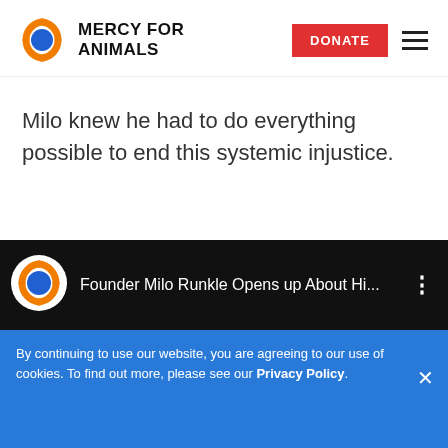MERCY FOR ANIMALS
Milo knew he had to do everything possible to end this systemic injustice.
[Figure (screenshot): YouTube-style video thumbnail bar with Mercy For Animals logo icon and title 'Founder Milo Runkle Opens up About Hi...' on dark background]
By continuing to use our website, you are agreeing to our use of cookies. To find out more, please see our Privacy Policy.